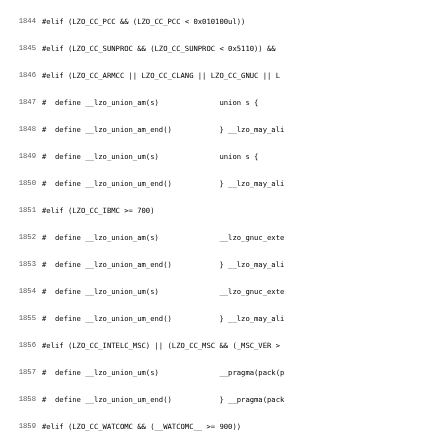Source code listing lines 1844-1875 of LZO C preprocessor header file